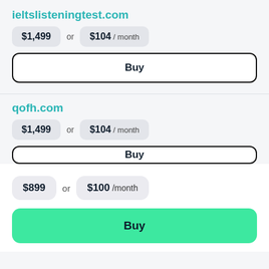ieltslisteningtest.com
$1,499 or $104 / month
Buy
qofh.com
$1,499 or $104 / month
Buy
$899 or $100 /month
Buy